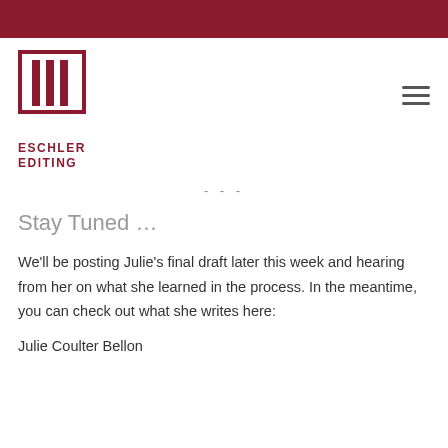[Figure (logo): Eschler Editing logo — vertical bars icon above the text ESCHLER EDITING in dark red]
- - -
Stay Tuned …
We'll be posting Julie's final draft later this week and hearing from her on what she learned in the process. In the meantime, you can check out what she writes here:
Julie Coulter Bellon